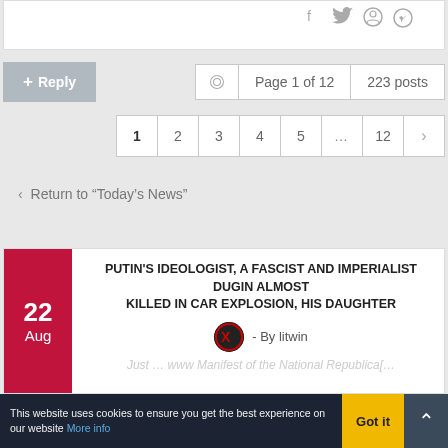[Figure (screenshot): Top white card area with social share icons (Facebook, Twitter, Reddit, WhatsApp) in the top right]
+ Reply
Page 1 of 12   223 posts
1  2  3  4  5  ...  12  >
< Return to "Today's News"
PUTIN'S IDEOLOGIST, A FASCIST AND IMPERIALIST DUGIN ALMOST KILLED IN CAR EXPLOSION, HIS DAUGHTER
- By litwin
Just ... www Manifest of the National Republica[...
This website uses cookies to ensure you get the best experience on our website More info   Got it